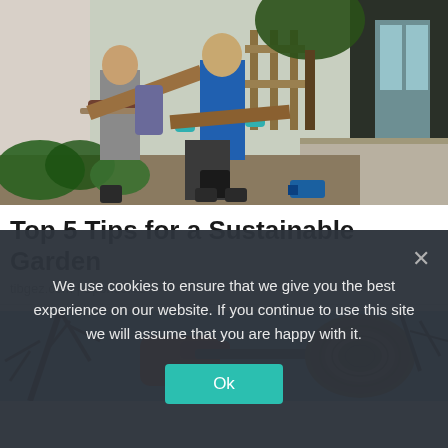[Figure (photo): Two people working in a backyard garden, carrying wooden boards/raised bed frames. Green plants visible. One person in blue t-shirt, one in gray tank top. A power tool visible on ground. House and deck in background.]
Top 5 Tips for a Sustainable Garden
tibgez.com | Sponsored
[Figure (photo): Person using a chainsaw or power tool with orange glove, cutting logs or branches. Blue sky visible in background.]
We use cookies to ensure that we give you the best experience on our website. If you continue to use this site we will assume that you are happy with it.